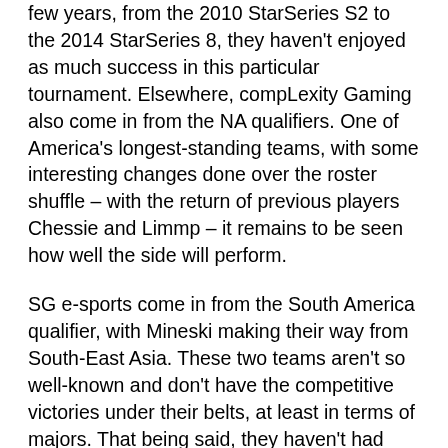few years, from the 2010 StarSeries S2 to the 2014 StarSeries 8, they haven't enjoyed as much success in this particular tournament. Elsewhere, compLexity Gaming also come in from the NA qualifiers. One of America's longest-standing teams, with some interesting changes done over the roster shuffle – with the return of previous players Chessie and Limmp – it remains to be seen how well the side will perform.
SG e-sports come in from the South America qualifier, with Mineski making their way from South-East Asia. These two teams aren't so well-known and don't have the competitive victories under their belts, at least in terms of majors. That being said, they haven't had much of a chance to prove themselves in higher tier tournaments – they could be a flash in the pan, or new teams on the rise. This tournament should be an excellent opportunity to see which of the two it may be.
Lastly, winning the China qualifiers is renowned team Vici